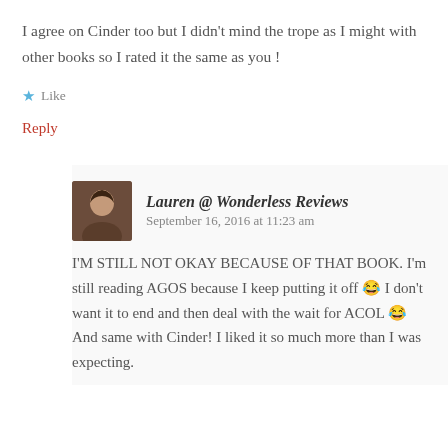I agree on Cinder too but I didn't mind the trope as I might with other books so I rated it the same as you !
★ Like
Reply
Lauren @ Wonderless Reviews
September 16, 2016 at 11:23 am
I'M STILL NOT OKAY BECAUSE OF THAT BOOK. I'm still reading AGOS because I keep putting it off 😂 I don't want it to end and then deal with the wait for ACOL 😂 And same with Cinder! I liked it so much more than I was expecting.